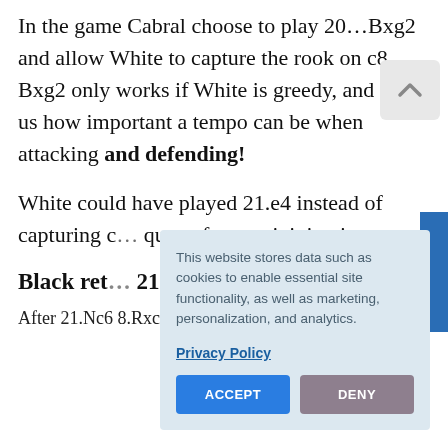In the game Cabral choose to play 20…Bxg2 and allow White to capture the rook on c8. … Bxg2 only works if White is greedy, and shows us how important a tempo can be when attacking and defending!
White could have played 21.e4 instead of capturing c… queen from… joining in t…
Black ret… 21…Rc6 e… White.
After 21.Nc6 8.Rxc8 22.Bxd BxB 23.Qf1. Qd5
[Figure (screenshot): Cookie consent dialog overlay on a chess article page. The dialog reads: 'This website stores data such as cookies to enable essential site functionality, as well as marketing, personalization, and analytics.' with a Privacy Policy link and ACCEPT and DENY buttons.]